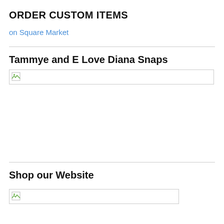ORDER CUSTOM ITEMS
on Square Market
Tammye and E Love Diana Snaps
[Figure (other): Broken/missing image placeholder, full width]
Shop our Website
[Figure (other): Broken/missing image placeholder, partial width]